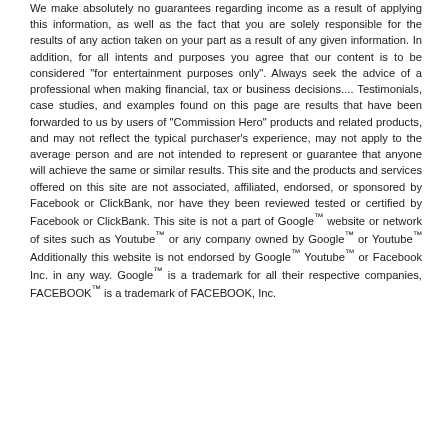We make absolutely no guarantees regarding income as a result of applying this information, as well as the fact that you are solely responsible for the results of any action taken on your part as a result of any given information. In addition, for all intents and purposes you agree that our content is to be considered "for entertainment purposes only". Always seek the advice of a professional when making financial, tax or business decisions.... Testimonials, case studies, and examples found on this page are results that have been forwarded to us by users of "Commission Hero" products and related products, and may not reflect the typical purchaser's experience, may not apply to the average person and are not intended to represent or guarantee that anyone will achieve the same or similar results. This site and the products and services offered on this site are not associated, affiliated, endorsed, or sponsored by Facebook or ClickBank, nor have they been reviewed tested or certified by Facebook or ClickBank. This site is not a part of Google™ website or network of sites such as Youtube™ or any company owned by Google™ or Youtube™ Additionally this website is not endorsed by Google™ Youtube™ or Facebook Inc. in any way. Google™ is a trademark for all their respective companies, FACEBOOK™ is a trademark of FACEBOOK, Inc.